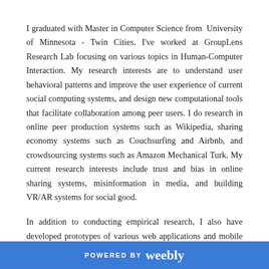I graduated with Master in Computer Science from University of Minnesota - Twin Cities. I've worked at GroupLens Research Lab focusing on various topics in Human-Computer Interaction. My research interests are to understand user behavioral patterns and improve the user experience of current social computing systems, and design new computational tools that facilitate collaboration among peer users. I do research in online peer production systems such as Wikipedia, sharing economy systems such as Couchsurfing and Airbnb, and crowdsourcing systems such as Amazon Mechanical Turk. My current research interests include trust and bias in online sharing systems, misinformation in media, and building VR/AR systems for social good.
In addition to conducting empirical research, I also have developed prototypes of various web applications and mobile systems. Some of these involve extensive UI research and iterative prototyping to successfully achieve system. My
POWERED BY weebly